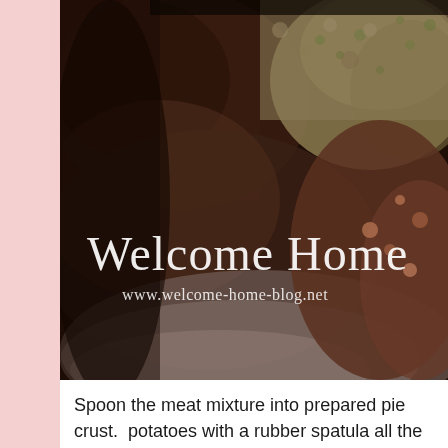[Figure (photo): Close-up photo of a shepherd's pie or meat casserole dish showing browned meat and vegetable filling with mashed potato topping, with 'Welcome Home' and 'www.welcome-home-blog.net' overlaid in white text]
Spoon the meat mixture into prepared pie crust. potatoes with a rubber spatula all the way to the bubbling over into your potatoes. You can use th